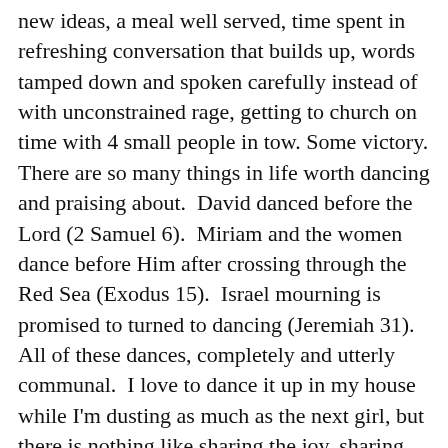new ideas, a meal well served, time spent in refreshing conversation that builds up, words tamped down and spoken carefully instead of with unconstrained rage, getting to church on time with 4 small people in tow. Some victory. There are so many things in life worth dancing and praising about.  David danced before the Lord (2 Samuel 6).  Miriam and the women dance before Him after crossing through the Red Sea (Exodus 15).  Israel mourning is promised to turned to dancing (Jeremiah 31).  All of these dances, completely and utterly communal.  I love to dance it up in my house while I'm dusting as much as the next girl, but there is nothing like sharing the joy, sharing the victories of life, with the Body. What victories have lead you to dance in Joy?  Who have you gotten to share with?  What victories this day, or this week, can you celebrate before the Lord in praise? We have these friends that we have cried and laughed with, made life decisions with at 3am on our kitchen floor.  These friends have held our babies as they're baptized and while they threw up in